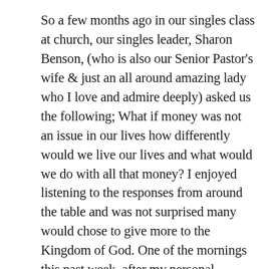So a few months ago in our singles class at church, our singles leader, Sharon Benson, (who is also our Senior Pastor's wife & just an all around amazing lady who I love and admire deeply) asked us the following; What if money was not an issue in our lives how differently would we live our lives and what would we do with all that money? I enjoyed listening to the responses from around the table and was not surprised many would chose to give more to the Kingdom of God. One of the mornings this past week, after my personal devotion time, I was reminded of that question but it lead to another question in my mind, What if you had everything in the world you needed and you knew every event that what was going to transpire in your life until the day you died, how differently would your thought process change on